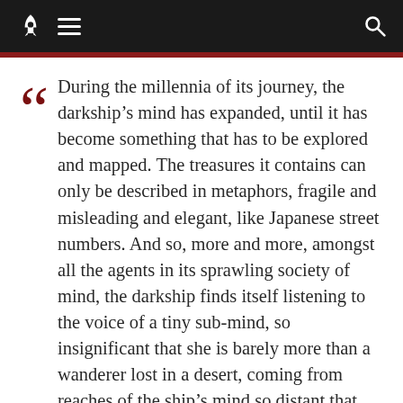[Navigation bar with rocket logo, hamburger menu, and search icon]
During the millennia of its journey, the darkship’s mind has expanded, until it has become something that has to be explored and mapped. The treasures it contains can only be described in metaphors, fragile and misleading and elegant, like Japanese street numbers. And so, more and more, amongst all the agents in its sprawling society of mind, the darkship finds itself listening to the voice of a tiny sub-mind, so insignificant that she is barely more than a wanderer lost in a desert, coming from reaches of the ship’s mind so distant that she might as well be a traveller from